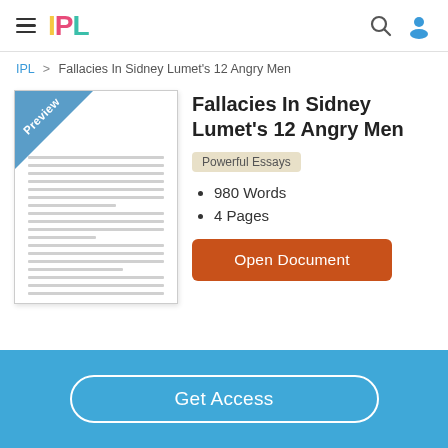IPL
IPL > Fallacies In Sidney Lumet's 12 Angry Men
[Figure (illustration): Document preview thumbnail with a blue corner banner labeled 'Preview' and horizontal lines representing text content]
Fallacies In Sidney Lumet's 12 Angry Men
Powerful Essays
980 Words
4 Pages
Open Document
Get Access